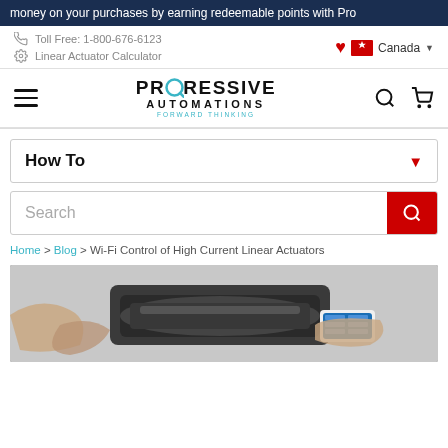money on your purchases by earning redeemable points with Progressive Automations
Toll Free: 1-800-676-6123
Linear Actuator Calculator
Canada
[Figure (logo): Progressive Automations logo with teal gear replacing the O in PRO, text PROGRESSIVE AUTOMATIONS FORWARD THINKING]
How To
Search
Home > Blog > Wi-Fi Control of High Current Linear Actuators
[Figure (photo): Person holding a smartphone next to a linear actuator device, shown from a close-up angle with a blurred background]